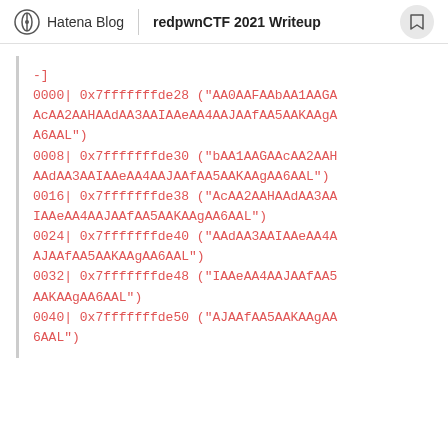Hatena Blog | redpwnCTF 2021 Writeup
-]
0000| 0x7fffffffde28 ("AA0AAFAAbAA1AAGAAcAA2AAHAAdAA3AAIAAeAA4AAJAAfAA5AAKAAgAA6AAL")
0008| 0x7fffffffde30 ("bAA1AAGAAcAA2AAHAAdAA3AAIAAeAA4AAJAAfAA5AAKAAgAA6AAL")
0016| 0x7fffffffde38 ("AcAA2AAHAAdAA3AAIAAeAA4AAJAAfAA5AAKAAgAA6AAL")
0024| 0x7fffffffde40 ("AAdAA3AAIAAeAA4AAJAAfAA5AAKAAgAA6AAL")
0032| 0x7fffffffde48 ("IAAeAA4AAJAAfAA5AAKAAgAA6AAL")
0040| 0x7fffffffde50 ("AJAAfAA5AAKAAgAA6AAL")